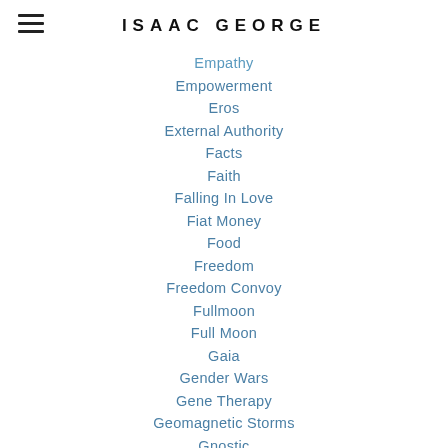ISAAC GEORGE
Empathy
Empowerment
Eros
External Authority
Facts
Faith
Falling In Love
Fiat Money
Food
Freedom
Freedom Convoy
Fullmoon
Full Moon
Gaia
Gender Wars
Gene Therapy
Geomagnetic Storms
Gnostic
Goddess
Graphene Oxide